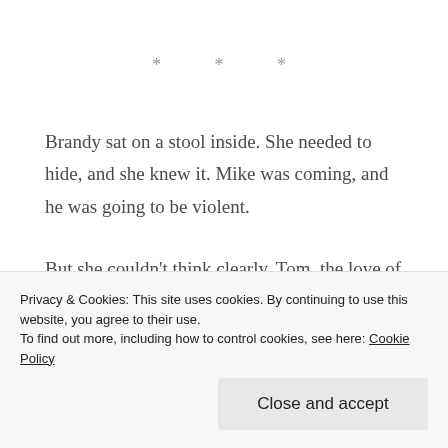* * *
Brandy sat on a stool inside. She needed to hide, and she knew it. Mike was coming, and he was going to be violent.
But she couldn't think clearly. Tom, the love of her life, had just been stabbed in the gut. He was dying, and there was nothing she could do about it. The best she could do was call the police.
Privacy & Cookies: This site uses cookies. By continuing to use this website, you agree to their use.
To find out more, including how to control cookies, see here: Cookie Policy